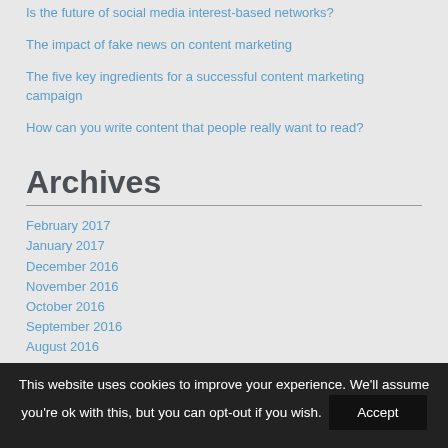Is the future of social media interest-based networks?
The impact of fake news on content marketing
The five key ingredients for a successful content marketing campaign
How can you write content that people really want to read?
Archives
February 2017
January 2017
December 2016
November 2016
October 2016
September 2016
August 2016
This website uses cookies to improve your experience. We'll assume you're ok with this, but you can opt-out if you wish. Accept